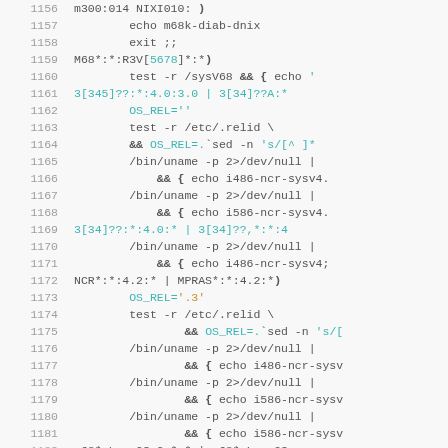[Figure (screenshot): Source code listing with line numbers 1156-1186, showing shell script code with syntax highlighting. Line numbers in grey on left, code in monospace with cyan, orange, and bold highlighting for keywords, strings, and special tokens.]